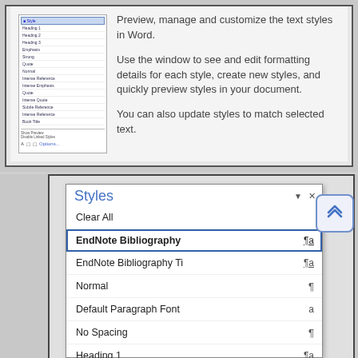[Figure (screenshot): Top portion of a Microsoft Word screenshot showing the Styles panel (miniature list on left) and descriptive text on the right: 'Preview, manage and customize the text styles in Word. Use the window to see and edit formatting details for each style, create new styles, and quickly preview styles in your document. You can also update styles to match selected text.']
[Figure (screenshot): Microsoft Word Styles panel dialog showing: Clear All, EndNote Bibliography (selected, highlighted with blue border), EndNote Bibliography Ti, Normal, Default Paragraph Font, No Spacing, Heading 1, Heading 2, Title, Subtitle. Each style has a paragraph/character marker icon on the right. A scroll-to-top button (double chevron up) appears to the right of the panel.]